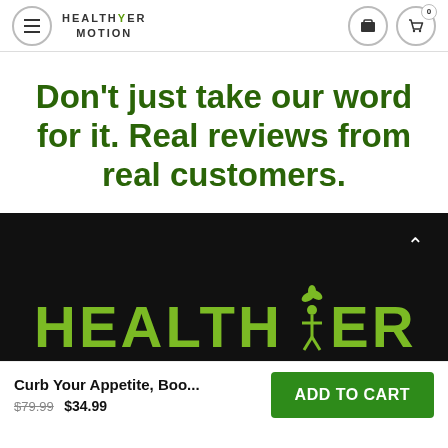HEALTHYER MOTION
Don't just take our word for it. Real reviews from real customers.
[Figure (logo): Healthyer logo in green on black background with plant/person icon, displaying 'HEALTHYER' in large green letters]
Curb Your Appetite, Boo... $79.99 $34.99
ADD TO CART